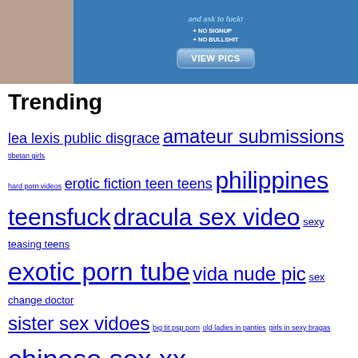[Figure (other): Adult website advertisement banner with photo and call-to-action buttons]
Trending
lea lexis public disgrace amateur submissions tibetan girls hard porn videos erotic fiction teen teens philippines teensfuck dracula sex video sexy teasing teens exotic porn tube vida nude pic sex change doctor sister sex vidoes big tit psp porn old ladies in panties girls in sexy bragas chinese sex xx kamasutra a tale of love british sikh girl home sex
Copyright © 2019 - Adult video website for people who loves sex!